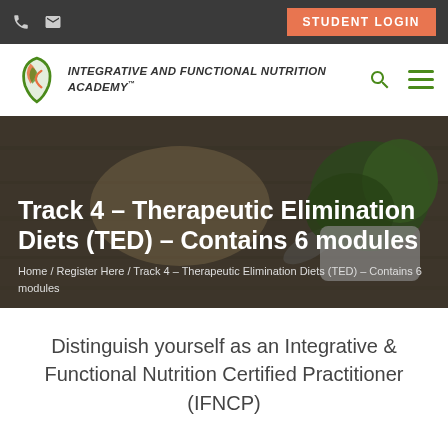STUDENT LOGIN
[Figure (logo): Integrative and Functional Nutrition Academy logo with stylized snake/leaf design in green and orange]
Track 4 – Therapeutic Elimination Diets (TED) – Contains 6 modules
Home / Register Here / Track 4 – Therapeutic Elimination Diets (TED) – Contains 6 modules
Distinguish yourself as an Integrative & Functional Nutrition Certified Practitioner (IFNCP)